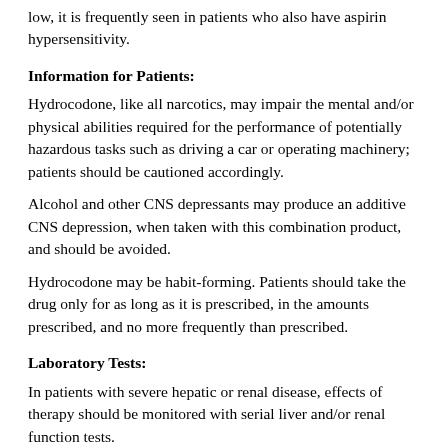low, it is frequently seen in patients who also have aspirin hypersensitivity.
Information for Patients:
Hydrocodone, like all narcotics, may impair the mental and/or physical abilities required for the performance of potentially hazardous tasks such as driving a car or operating machinery; patients should be cautioned accordingly.
Alcohol and other CNS depressants may produce an additive CNS depression, when taken with this combination product, and should be avoided.
Hydrocodone may be habit-forming. Patients should take the drug only for as long as it is prescribed, in the amounts prescribed, and no more frequently than prescribed.
Laboratory Tests:
In patients with severe hepatic or renal disease, effects of therapy should be monitored with serial liver and/or renal function tests.
Drug Interactions:
Patients receiving other narcotic analgesics, antihistamines, antipsychotics, antianxiety agents, or other CNS depressants